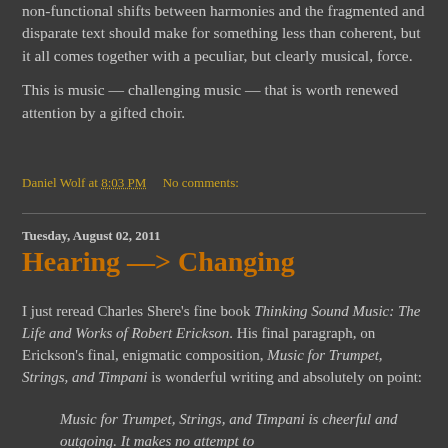non-functional shifts between harmonies and the fragmented and disparate text should make for something less than coherent, but it all comes together with a peculiar, but clearly musical, force.
This is music — challenging music — that is worth renewed attention by a gifted choir.
Daniel Wolf at 8:03 PM   No comments:
Tuesday, August 02, 2011
Hearing —> Changing
I just reread Charles Shere's fine book Thinking Sound Music: The Life and Works of Robert Erickson. His final paragraph, on Erickson's final, enigmatic composition, Music for Trumpet, Strings, and Timpani is wonderful writing and absolutely on point:
Music for Trumpet, Strings, and Timpani is cheerful and outgoing. It makes no attempt to